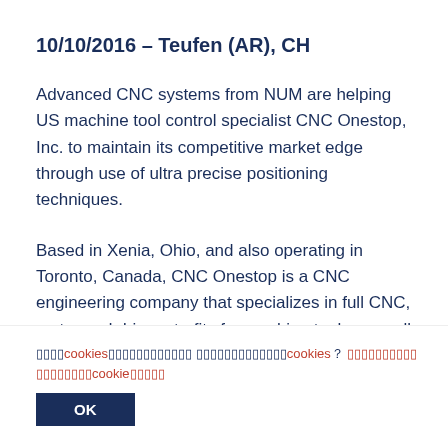10/10/2016 – Teufen (AR), CH
Advanced CNC systems from NUM are helping US machine tool control specialist CNC Onestop, Inc. to maintain its competitive market edge through use of ultra precise positioning techniques.
Based in Xenia, Ohio, and also operating in Toronto, Canada, CNC Onestop is a CNC engineering company that specializes in full CNC, motor and drive retrofits for machine tools, as well as machine rebuilds and troubleshooting. Its main area of business is in grinding machines – including OD, ID, non-round and
（cookie通知文字）我们使用cookies来改善我们的服务。如需了解更多关于cookies的使用，请参阅我们的cookie政策。